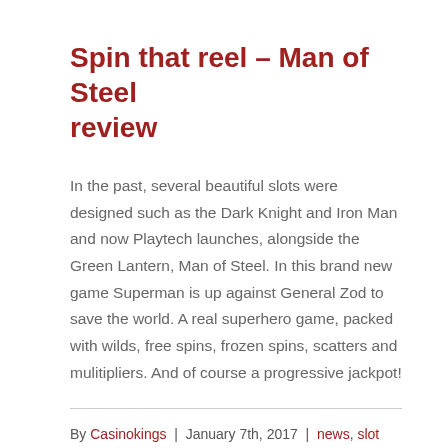Spin that reel – Man of Steel review
In the past, several beautiful slots were designed such as the Dark Knight and Iron Man and now Playtech launches, alongside the Green Lantern, Man of Steel. In this brand new game Superman is up against General Zod to save the world. A real superhero game, packed with wilds, free spins, frozen spins, scatters and mulitipliers. And of course a progressive jackpot!
By Casinokings | January 7th, 2017 | news, slot reviews | Comments Off
Read More >